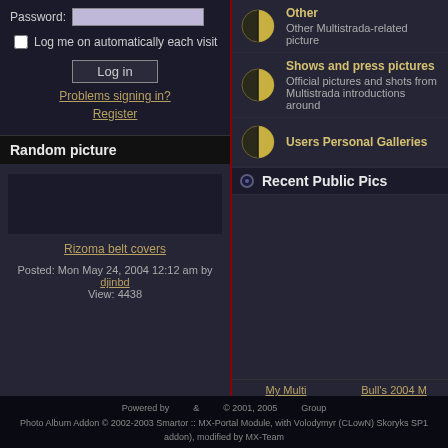Password:
Log me on automatically each visit
Log in
Problems signing in?
Register
Random picture
Rizoma belt covers
Posted: Mon May 24, 2004 12:12 am by djinbd
View: 4438
Other
Other Multistrada-related picture
Shows and press pictures
Official pictures and shots from Multistrada introductions around
Users Personal Galleries
Recent Public Pics
My Multi
Posted: Wed Apr 06, 2022 5:56 am by Yac916
View: 67
Bull's 2004 M
Posted: Mon Mar 1... 7:29 am by Colin P...
View: 65
Powered by & © 2001, 2005 Group
Photo Album Addon © 2002-2003 Smartor :: MX-Portal Module, with Volodymyr (CLowN) Skoryks SP1 addon), modified by MX-Team